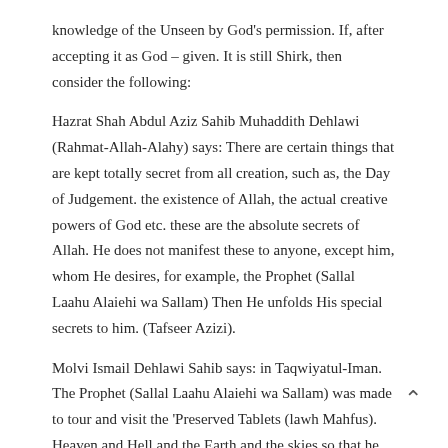knowledge of the Unseen by God's permission. If, after accepting it as God – given. It is still Shirk, then consider the following:
Hazrat Shah Abdul Aziz Sahib Muhaddith Dehlawi (Rahmat-Allah-Alahy) says: There are certain things that are kept totally secret from all creation, such as, the Day of Judgement. the existence of Allah, the actual creative powers of God etc. these are the absolute secrets of Allah. He does not manifest these to anyone, except him, whom He desires, for example, the Prophet (Sallal Laahu Alaiehi wa Sallam) Then He unfolds His special secrets to him. (Tafseer Azizi).
Molvi Ismail Dehlawi Sahib says: in Taqwiyatul-Iman. The Prophet (Sallal Laahu Alaiehi wa Sallam) was made to tour and visit the 'Preserved Tablets (lawh Mahfus). Heaven and Hell and the Earth and the skies so that he could expound or, the state and positions of the souls and angels. (Sirat. Mustaqeem p. 117).
Haji Imdadullah Sahib Muhajir Makki says: that people say that the Prophets and Auliya don't have knowledge of the Unseen, but I say that